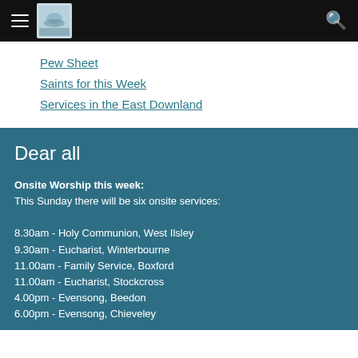Navigation header with logo and search icon
Pew Sheet
Saints for this Week
Services in the East Downland
Dear all
Onsite Worship this week:
This Sunday there will be six onsite services:

8.30am - Holy Communion, West Ilsley
9.30am - Eucharist, Winterbourne
11.00am - Family Service, Boxford
11.00am - Eucharist, Stockcross
4.00pm - Evensong, Beedon
6.00pm - Evensong, Chieveley